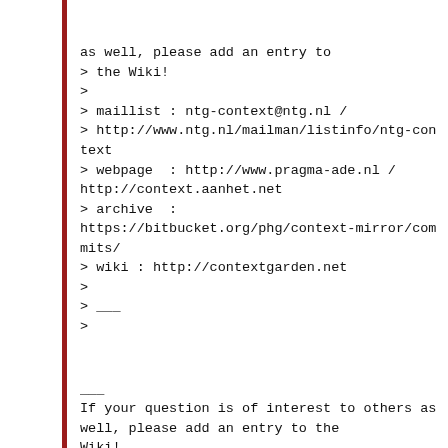as well, please add an entry to
> the Wiki!
>
> maillist : ntg-context@ntg.nl /
> http://www.ntg.nl/mailman/listinfo/ntg-context
> webpage  : http://www.pragma-ade.nl /
http://context.aanhet.net
> archive  :
https://bitbucket.org/phg/context-mirror/commits/
> wiki : http://contextgarden.net
>
> ___
>
___
If your question is of interest to others as
well, please add an entry to the
Wiki!

maillist : ntg-context@ntg.nl /
http://www.ntg.nl/mailman/listinfo/ntg-context